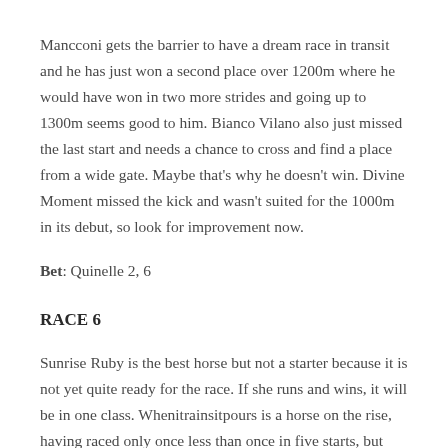Mancconi gets the barrier to have a dream race in transit and he has just won a second place over 1200m where he would have won in two more strides and going up to 1300m seems good to him. Bianco Vilano also just missed the last start and needs a chance to cross and find a place from a wide gate. Maybe that's why he doesn't win. Divine Moment missed the kick and wasn't suited for the 1000m in its debut, so look for improvement now.
Bet: Quinelle 2, 6
RACE 6
Sunrise Ruby is the best horse but not a starter because it is not yet quite ready for the race. If she runs and wins, it will be in one class. Whenitrainsitpours is a horse on the rise, having raced only once less than once in five starts, but must do better in career when he climbs two grades. Blitzar has an excellent track record and if the track remains dry, it is hard to beat. Require Mo